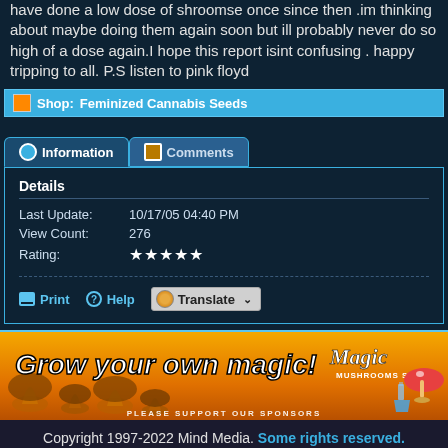have done a low dose of shroomse once since then .im thinking about maybe doing them again soon but ill probably never do so high of a dose again.I hope this report isint confusing . happy tripping to all. P.S listen to pink floyd
Shop: Feminized Cannabis Seeds
Information
Comments
| Last Update: | 10/17/05 04:40 PM |
| View Count: | 276 |
| Rating: | ★★★★★ |
Print   Help   Translate
[Figure (illustration): Advertisement banner: orange/golden background with mushroom silhouettes, text 'Grow your own magic!' in white italic bold font. Magic Mushrooms Shop logo on the right with a stylized mushroom icon. Bottom text: PLEASE SUPPORT OUR SPONSORS]
Copyright 1997-2022 Mind Media. Some rights reserved.
Generated in 0.032 seconds spending 0.013 seconds on 4 queries.